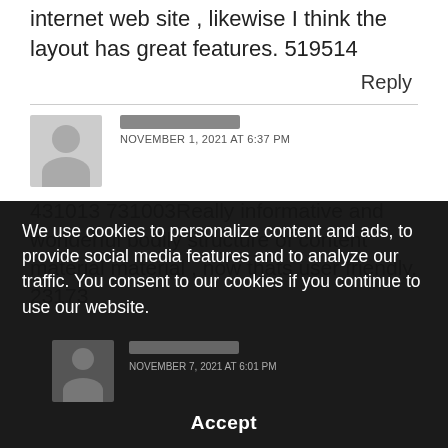internet web site , likewise I think the layout has great features. 519514
Reply
NOVEMBER 1, 2021 AT 6:37 PM
431013 731003Really informative and wonderful bodily structure of content material material , now thats user friendly. 23173
We use cookies to personalize content and ads, to provide social media features and to analyze our traffic. You consent to our cookies if you continue to use our website.
Accept
NOVEMBER 7, 2021 AT 6:01 PM